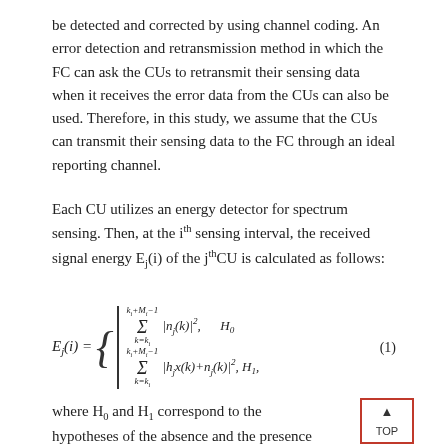be detected and corrected by using channel coding. An error detection and retransmission method in which the FC can ask the CUs to retransmit their sensing data when it receives the error data from the CUs can also be used. Therefore, in this study, we assume that the CUs can transmit their sensing data to the FC through an ideal reporting channel.
Each CU utilizes an energy detector for spectrum sensing. Then, at the i^th sensing interval, the received signal energy E_j(i) of the j^th CU is calculated as follows:
where H_0 and H_1 correspond to the hypotheses of the absence and the presence of the PU signal, respectively;